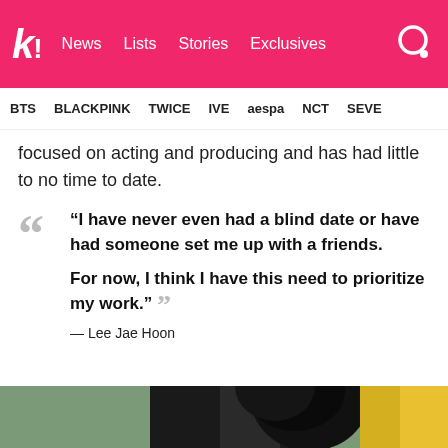k! News  Lists  Stories  Exclusives
BTS  BLACKPINK  TWICE  IVE  aespa  NCT  SEVE
focused on acting and producing and has had little to no time to date.
“I have never even had a blind date or have had someone set me up with a friends.

For now, I think I have this need to prioritize my work.”
— Lee Jae Hoon
[Figure (photo): Bottom strip showing partial photo of a person]